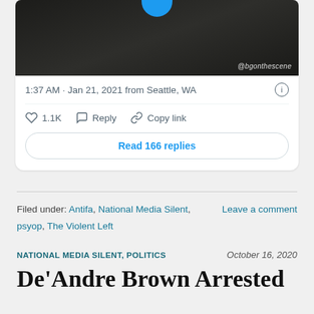[Figure (screenshot): Screenshot of a tweet showing a dark graffiti-covered wall photo with a blue Twitter verification circle partially visible at top center. Watermark reads @bgonthescene.]
1:37 AM · Jan 21, 2021 from Seattle, WA
♡ 1.1K   Reply   Copy link
Read 166 replies
Filed under: Antifa, National Media Silent, psyop, The Violent Left    Leave a comment
NATIONAL MEDIA SILENT, POLITICS    October 16, 2020
De'Andre Brown Arrested